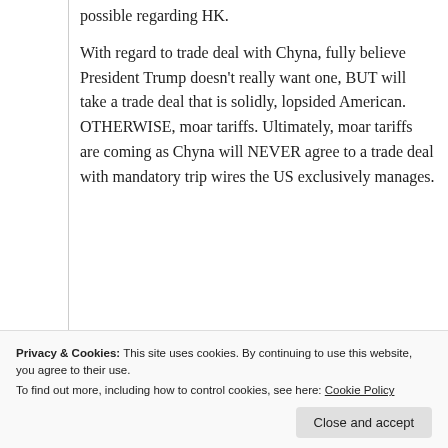possible regarding HK.
With regard to trade deal with Chyna, fully believe President Trump doesn't really want one, BUT will take a trade deal that is solidly, lopsided American. OTHERWISE, moar tariffs. Ultimately, moar tariffs are coming as Chyna will NEVER agree to a trade deal with mandatory trip wires the US exclusively manages.
Privacy & Cookies: This site uses cookies. By continuing to use this website, you agree to their use. To find out more, including how to control cookies, see here: Cookie Policy
America from Chyna. Absolute